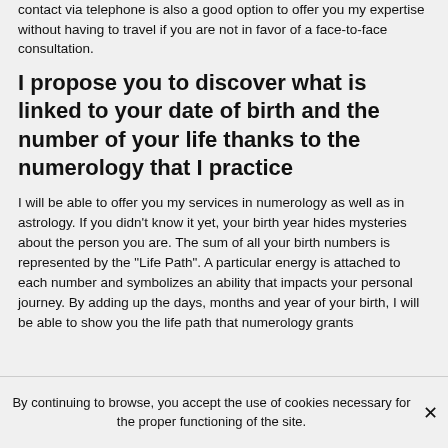contact via telephone is also a good option to offer you my expertise without having to travel if you are not in favor of a face-to-face consultation.
I propose you to discover what is linked to your date of birth and the number of your life thanks to the numerology that I practice
I will be able to offer you my services in numerology as well as in astrology. If you didn't know it yet, your birth year hides mysteries about the person you are. The sum of all your birth numbers is represented by the "Life Path". A particular energy is attached to each number and symbolizes an ability that impacts your personal journey. By adding up the days, months and year of your birth, I will be able to show you the life path that numerology grants
By continuing to browse, you accept the use of cookies necessary for the proper functioning of the site.